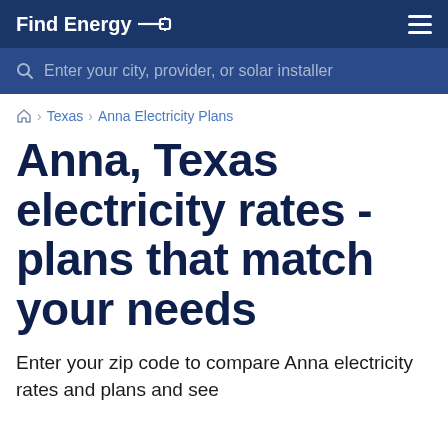Find Energy
Enter your city, provider, or solar installer
› Texas › Anna Electricity Plans
Anna, Texas electricity rates - plans that match your needs
Enter your zip code to compare Anna electricity rates and plans and see